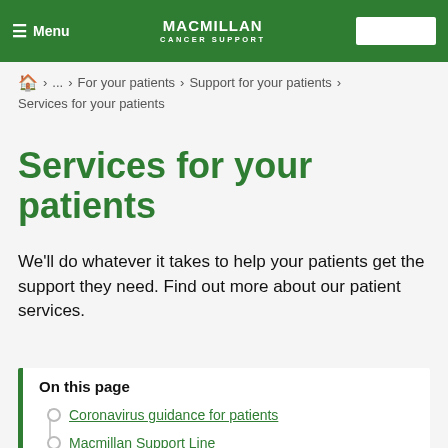Menu | MACMILLAN CANCER SUPPORT
🏠 › ... › For your patients › Support for your patients › Services for your patients
Services for your patients
We'll do whatever it takes to help your patients get the support they need. Find out more about our patient services.
On this page
Coronavirus guidance for patients
Macmillan Support Line
Support for patients at diagnosis
Cancer information and booklets